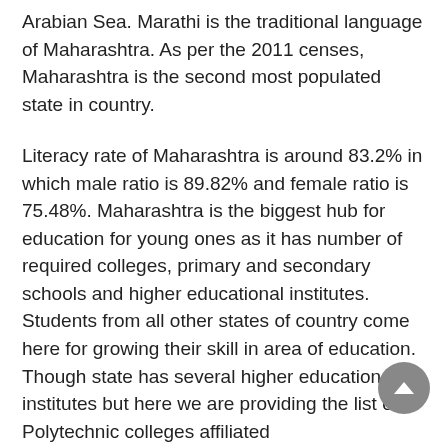Arabian Sea. Marathi is the traditional language of Maharashtra. As per the 2011 censes, Maharashtra is the second most populated state in country.
Literacy rate of Maharashtra is around 83.2% in which male ratio is 89.82% and female ratio is 75.48%. Maharashtra is the biggest hub for education for young ones as it has number of required colleges, primary and secondary schools and higher educational institutes. Students from all other states of country come here for growing their skill in area of education. Though state has several higher educational institutes but here we are providing the list of Polytechnic colleges affiliated